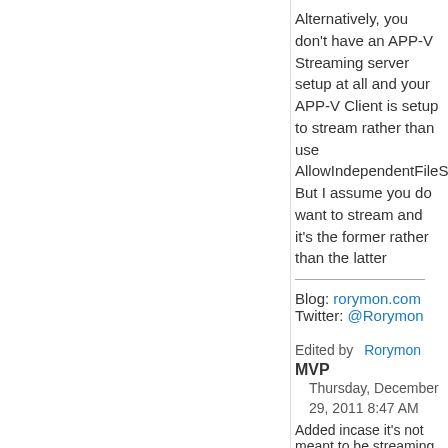Alternatively, you don't have an APP-V Streaming server setup at all and your APP-V Client is setup to stream rather than use AllowIndependentFileStream. But I assume you do want to stream and it's the former rather than the latter
Blog: rorymon.com Twitter: @Rorymon
Edited by Rorymon MVP Thursday, December 29, 2011 8:47 AM Added incase it's not meant to be streaming
Proposed as answer by Aaron.Parker Moderator Thursday, December 29, 2011 10:32 AM
Marked as answer by sabbathkeeper